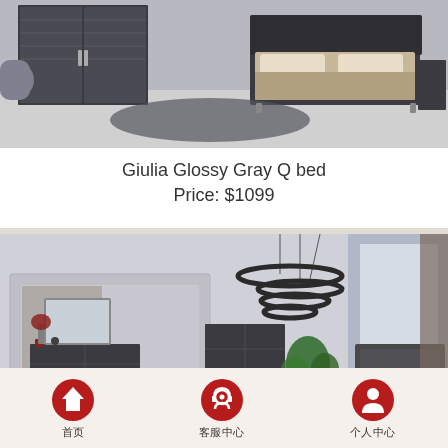[Figure (photo): Giulia Glossy Gray bedroom furniture set with gray glossy wardrobe and queen bed with dark gray finish]
Giulia Glossy Gray Q bed
Price: $1099
[Figure (photo): Elegant modern bedroom with circular chandelier, gray furniture, mirror dresser, and green plant]
首页   客服中心   个人中心